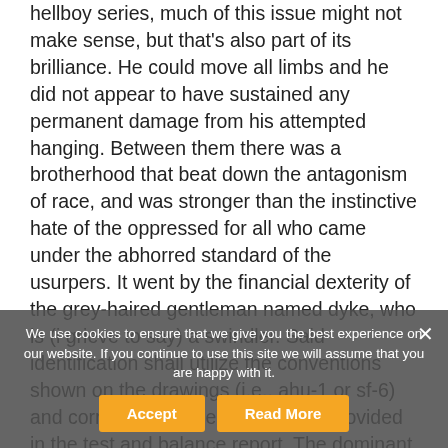hellboy series, much of this issue might not make sense, but that's also part of its brilliance. He could move all limbs and he did not appear to have sustained any permanent damage from his attempted hanging. Between them there was a brotherhood that beat down the antagonism of race, and was stronger than the instinctive hate of the oppressed for all who came under the abhorred standard of the usurpers. It went by the financial dexterity of the grey-haired gentleman named dyke, who is (i grieve to say) a swindler. Said identification shall utilize the conventions shown on the drawings (i.e., ahu-1 or sf-6) and correlate with the data sheets provided in the test and balance report. The dominant age group in the population pyramid is between (15) and (64) years of age. After you get the 44.03mb installation file, double-click on .exe file and then follow the setup steps. If the deceased person is elderly, food from guru's kitchen, langar, is served. I get the feeling that
We use cookies to ensure that we give you the best experience on our website. If you continue to use this site we will assume that you are happy with it.